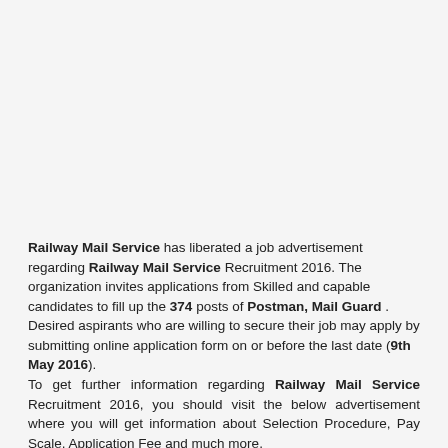Railway Mail Service has liberated a job advertisement regarding Railway Mail Service Recruitment 2016. The organization invites applications from Skilled and capable candidates to fill up the 374 posts of Postman, Mail Guard . Desired aspirants who are willing to secure their job may apply by submitting online application form on or before the last date (9th May 2016). To get further information regarding Railway Mail Service Recruitment 2016, you should visit the below advertisement where you will get information about Selection Procedure, Pay Scale, Application Fee and much more.
Information of Railway Mail Service Recruitment 2016:
Organization / Division Name: Railway Mail Service